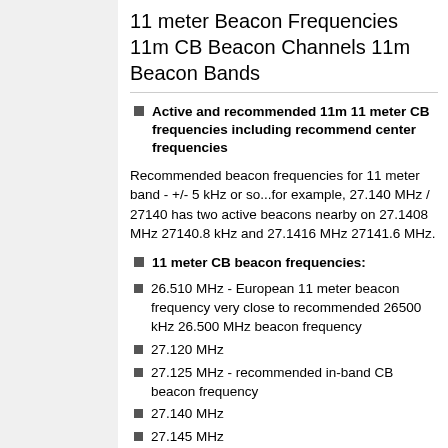11 meter Beacon Frequencies 11m CB Beacon Channels 11m Beacon Bands
Active and recommended 11m 11 meter CB frequencies including recommend center frequencies
Recommended beacon frequencies for 11 meter band - +/- 5 kHz or so...for example, 27.140 MHz / 27140 has two active beacons nearby on 27.1408 MHz 27140.8 kHz and 27.1416 MHz 27141.6 MHz.
11 meter CB beacon frequencies:
26.510 MHz - European 11 meter beacon frequency very close to recommended 26500 kHz 26.500 MHz beacon frequency
27.120 MHz
27.125 MHz - recommended in-band CB beacon frequency
27.140 MHz
27.145 MHz